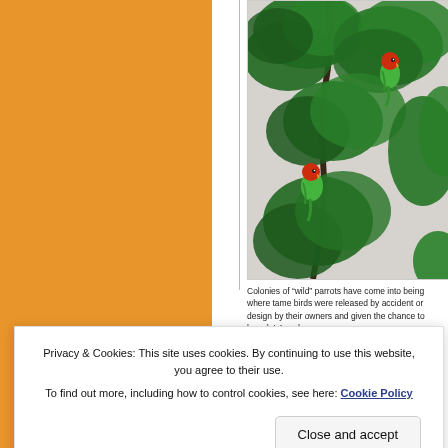[Figure (photo): Green parrots with red heads perched on leafy green branches against a white/grey background]
Colonies of “wild” parrots have come into being where tame birds were released by accident or design by their owners and given the chance to breed. LA and
Privacy & Cookies: This site uses cookies. By continuing to use this website, you agree to their use.
To find out more, including how to control cookies, see here: Cookie Policy
Close and accept